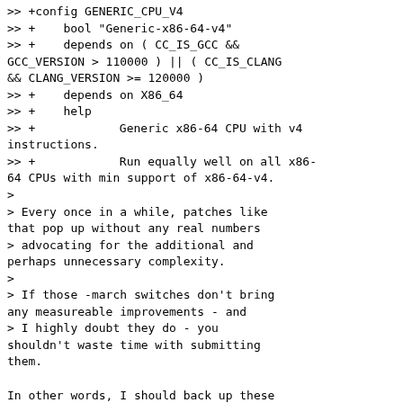>> +config GENERIC_CPU_V4
>> +	bool "Generic-x86-64-v4"
>> +	depends on ( CC_IS_GCC && GCC_VERSION > 110000 ) || ( CC_IS_CLANG && CLANG_VERSION >= 120000 )
>> +	depends on X86_64
>> +	help
>> +		Generic x86-64 CPU with v4 instructions.
>> +		Run equally well on all x86-64 CPUs with min support of x86-64-v4.
>
> Every once in a while, patches like that pop up without any real numbers
> advocating for the additional and perhaps unnecessary complexity.
>
> If those -march switches don't bring any measureable improvements - and
> I highly doubt they do - you shouldn't waste time with submitting them.

In other words, I should back up these additions with benchmarks?
I have some slight doubts too, but I'll gladly do so and provide
some results with a v2.

>
> Th...